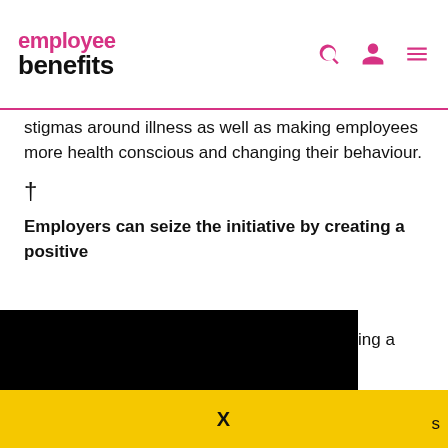employee benefits
stigmas around illness as well as making employees more health conscious and changing their behaviour.
†
Employers can seize the initiative by creating a positive
This website uses cookies to improve your experience. By continuing to browse this site you are agreeing to our use of these cookies. You can learn more about the cookies we use here.
X